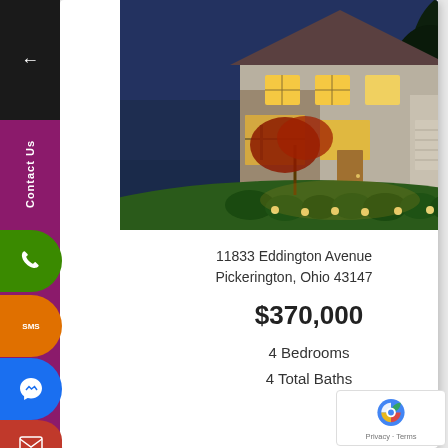[Figure (photo): Exterior photo of a two-story suburban home at dusk with warm interior lighting, manicured landscaping and pathway lights.]
11833 Eddington Avenue
Pickerington, Ohio 43147
$370,000
4 Bedrooms
4 Total Baths